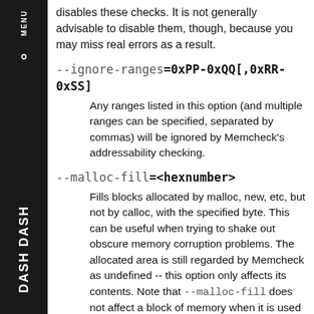disables these checks. It is not generally advisable to disable them, though, because you may miss real errors as a result.
--ignore-ranges=0xPP-0xQQ[,0xRR-0xSS]
Any ranges listed in this option (and multiple ranges can be specified, separated by commas) will be ignored by Memcheck's addressability checking.
--malloc-fill=<hexnumber>
Fills blocks allocated by malloc, new, etc, but not by calloc, with the specified byte. This can be useful when trying to shake out obscure memory corruption problems. The allocated area is still regarded by Memcheck as undefined -- this option only affects its contents. Note that --malloc-fill does not affect a block of memory when it is used as argument to client requests